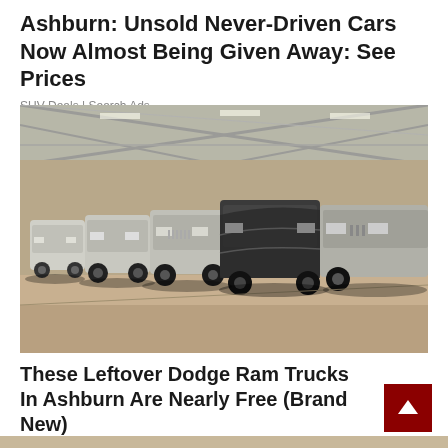Ashburn: Unsold Never-Driven Cars Now Almost Being Given Away: See Prices
SUV Deals | Search Ads
[Figure (photo): Row of SUVs and trucks parked inside a large warehouse/storage building with a metal roof structure visible above. The vehicles include several silver/grey trucks and one covered with a dark tarp.]
These Leftover Dodge Ram Trucks In Ashburn Are Nearly Free (Brand New)
Dodge | Search Ads